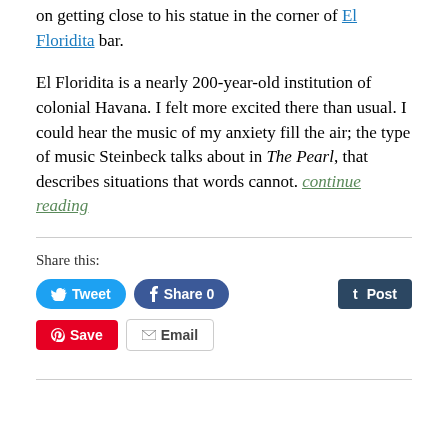on getting close to his statue in the corner of El Floridita bar.
El Floridita is a nearly 200-year-old institution of colonial Havana. I felt more excited there than usual. I could hear the music of my anxiety fill the air; the type of music Steinbeck talks about in The Pearl, that describes situations that words cannot. continue reading
Share this: